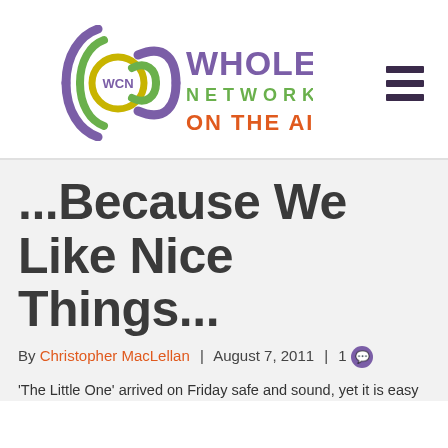[Figure (logo): Whole Care Network - On The Air! logo with WCN radio wave graphic in purple, yellow-green, and green colors, with purple and orange-red text]
...Because We Like Nice Things...
By Christopher MacLellan | August 7, 2011 | 1
'The Little One' arrived on Friday safe and sound, yet it is easy